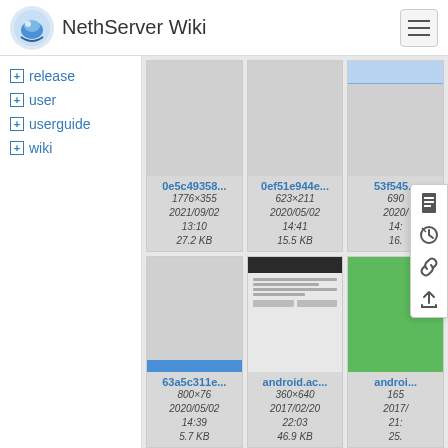NethServer Wiki
+ release
+ user
+ userguide
+ wiki
[Figure (screenshot): File thumbnail: 0e5c49358..., 1776×355, 2021/09/02 13:10, 27.2 KB]
[Figure (screenshot): File thumbnail: 0ef51e944e..., 623×211, 2020/05/02 14:41, 15.5 KB]
[Figure (screenshot): File thumbnail: 53f545..., 690×..., 2020/... 14:..., 16.7...]
[Figure (screenshot): File thumbnail: 63a5c311e..., 800×76, 2020/05/02 14:39, 5.7 KB]
[Figure (screenshot): File thumbnail: android.ac..., 360×640, 2017/02/20 22:03, 46.9 KB]
[Figure (screenshot): File thumbnail: androi..., 165×..., 2017/... 21:..., 25....]